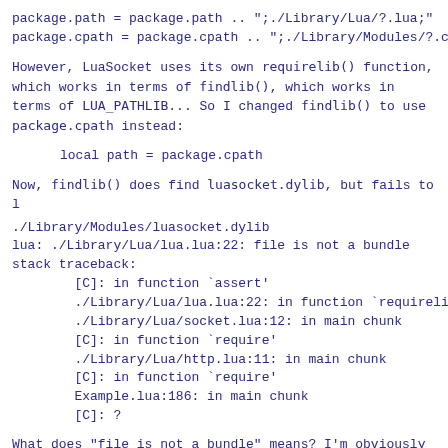package.path = package.path .. ";./Library/Lua/?.lua;"
package.cpath = package.cpath .. ";./Library/Modules/?.c
However, LuaSocket uses its own requirelib() function, which works in terms of findlib(), which works in terms of LUA_PATHLIB... So I changed findlib() to use package.cpath instead:
Now, findlib() does find luasocket.dylib, but fails to l
./Library/Modules/luasocket.dylib
lua: ./Library/Lua/lua.lua:22: file is not a bundle
stack traceback:
        [C]: in function `assert'
        ./Library/Lua/lua.lua:22: in function `requireli
        ./Library/Lua/socket.lua:12: in main chunk
        [C]: in function `require'
        ./Library/Lua/http.lua:11: in main chunk
        [C]: in function `require'
        Example.lua:186: in main chunk
        [C]: ?
What does "file is not a bundle" means? I'm obviously doing something very wrong, but I have no clue how to get this going :/